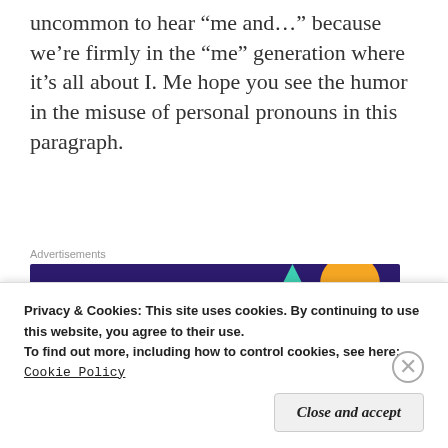uncommon to hear “me and…” because we’re firmly in the “me” generation where it’s all about I. Me hope you see the humor in the misuse of personal pronouns in this paragraph.
[Figure (other): WooCommerce advertisement banner with dark purple background, teal triangle, orange circle, and blue circle decorative shapes. Text reads: 'Turn your hobby into a business in 8 steps']
As long as we’re discussing “I,” maybe we should touch on the practice by some to try to make “I” possessive by adding an apostrophe s. As in “My
Privacy & Cookies: This site uses cookies. By continuing to use this website, you agree to their use.
To find out more, including how to control cookies, see here:
Cookie Policy